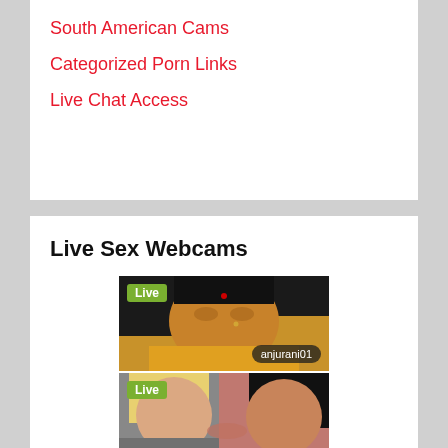South American Cams
Categorized Porn Links
Live Chat Access
Live Sex Webcams
[Figure (photo): Webcam thumbnail of a woman with label 'anjurani01' and Live badge]
[Figure (photo): Webcam thumbnail of two women with Live badge]